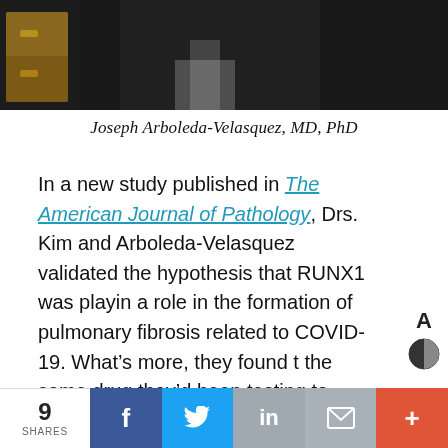[Figure (photo): Partial photo of a person (Joseph Arboleda-Velasquez, MD, PhD) in a medical/academic setting with dark background and wooden drawer visible on the left]
Joseph Arboleda-Velasquez, MD, PhD
In a new study published in The American Journal of Pathology, Drs. Kim and Arboleda-Velasquez validated the hypothesis that RUNX1 was playing a role in the formation of pulmonary fibrosis related to COVID-19. What’s more, they found that the same drug they’d been testing to inhibit RUNX1 in eye disease may do the same for this serious lung complication.
9 SHARES | Share on Facebook | Share on Twitter | Share on LinkedIn | Share via Email | More